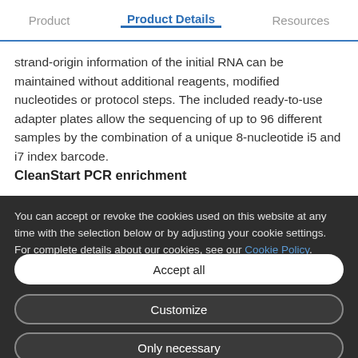Product | Product Details | Resources
strand-origin information of the initial RNA can be maintained without additional reagents, modified nucleotides or protocol steps. The included ready-to-use adapter plates allow the sequencing of up to 96 different samples by the combination of a unique 8-nucleotide i5 and i7 index barcode.
CleanStart PCR enrichment
You can accept or revoke the cookies used on this website at any time with the selection below or by adjusting your cookie settings. For complete details about our cookies, see our Cookie Policy.
Accept all
Customize
Only necessary